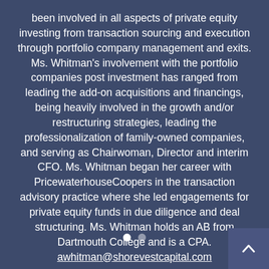been involved in all aspects of private equity investing from transaction sourcing and execution through portfolio company management and exits. Ms. Whitman's involvement with the portfolio companies post investment has ranged from leading the add-on acquisitions and financings, being heavily involved in the growth and/or restructuring strategies, leading the professionalization of family-owned companies, and serving as Chairwoman, Director and interim CFO. Ms. Whitman began her career with PricewaterhouseCoopers in the transaction advisory practice where she led engagements for private equity funds in due diligence and deal structuring. Ms. Whitman holds an AB from Dartmouth College and is a CPA. awhitman@shorevestcapital.com